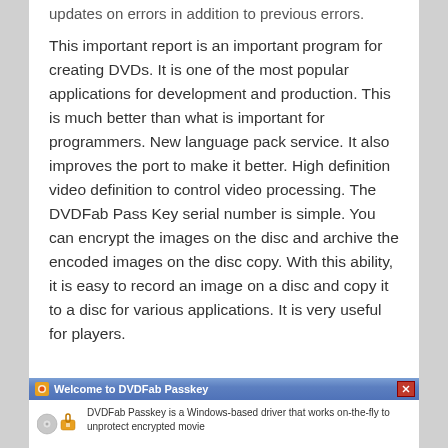…updates on errors in addition to previous errors.
This important report is an important program for creating DVDs. It is one of the most popular applications for development and production. This is much better than what is important for programmers. New language pack service. It also improves the port to make it better. High definition video definition to control video processing. The DVDFab Pass Key serial number is simple. You can encrypt the images on the disc and archive the encoded images on the disc copy. With this ability, it is easy to record an image on a disc and copy it to a disc for various applications. It is very useful for players.
[Figure (screenshot): Screenshot of DVDFab Passkey welcome dialog. Title bar reads 'Welcome to DVDFab Passkey'. Body text reads 'DVDFab Passkey is a Windows-based driver that works on-the-fly to unprotect encrypted movie']